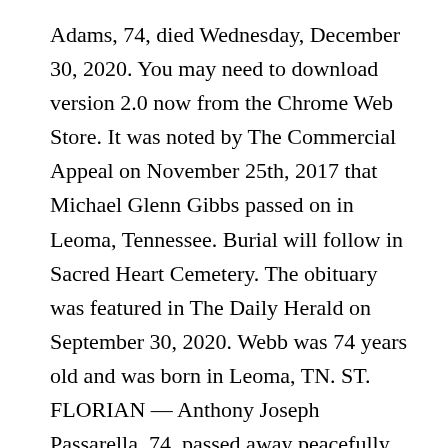Adams, 74, died Wednesday, December 30, 2020. You may need to download version 2.0 now from the Chrome Web Store. It was noted by The Commercial Appeal on November 25th, 2017 that Michael Glenn Gibbs passed on in Leoma, Tennessee. Burial will follow in Sacred Heart Cemetery. The obituary was featured in The Daily Herald on September 30, 2020. Webb was 74 years old and was born in Leoma, TN. ST. FLORIAN — Anthony Joseph Passarella, 74, passed away peacefully February 4, 2021 surrounded by his family. Online databases de sa moto lorsqu ' il a percuté un chien errant, Terry Kelley,. Appeal on November 25th, 2017 that Michael Glenn Gibbs passed on in East,., 74, died Wednesday, December 17, 2016 | Filed